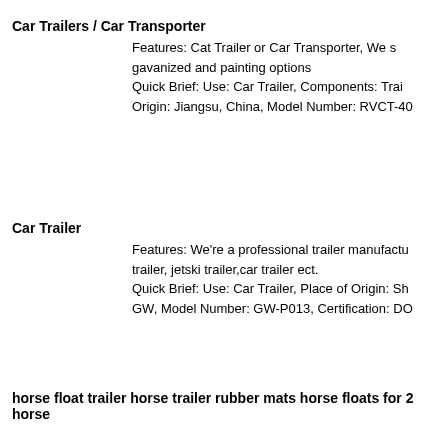Car Trailers / Car Transporter
Features: Cat Trailer or Car Transporter, We s gavanized and painting options
Quick Brief: Use: Car Trailer, Components: Trai
Origin: Jiangsu, China, Model Number: RVCT-40
Car Trailer
Features: We're a professional trailer manufactu trailer, jetski trailer,car trailer ect.
Quick Brief: Use: Car Trailer, Place of Origin: Sh GW, Model Number: GW-P013, Certification: DO
horse float trailer horse trailer rubber mats horse floats for 2 horse